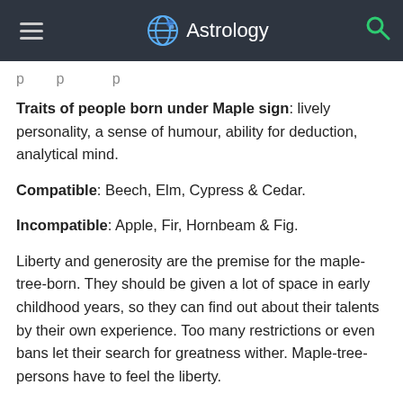Astrology
p p p
Traits of people born under Maple sign: lively personality, a sense of humour, ability for deduction, analytical mind.
Compatible: Beech, Elm, Cypress & Cedar.
Incompatible: Apple, Fir, Hornbeam & Fig.
Liberty and generosity are the premise for the maple-tree-born. They should be given a lot of space in early childhood years, so they can find out about their talents by their own experience. Too many restrictions or even bans let their search for greatness wither. Maple-tree-persons have to feel the liberty.
Maple-tree-born are true individualists. Everything common, the masses, the conservative and constraint is always animus to them. They fear life full of restrictions and...